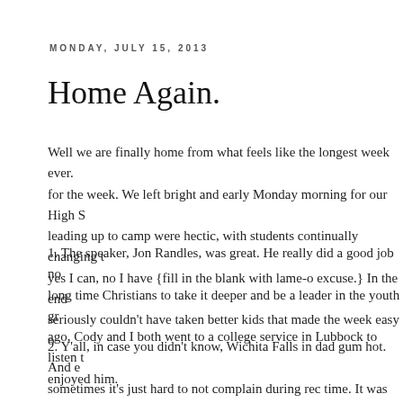MONDAY, JULY 15, 2013
Home Again.
Well we are finally home from what feels like the longest week ever. for the week. We left bright and early Monday morning for our High S leading up to camp were hectic, with students continually changing t yes I can, no I have {fill in the blank with lame-o excuse.} In the end seriously couldn't have taken better kids that made the week easy o
1. The speaker, Jon Randles, was great. He really did a good job no long time Christians to take it deeper and be a leader in the youth gr ago, Cody and I both went to a college service in Lubbock to listen t enjoyed him.
2. Y'all, in case you didn't know, Wichita Falls in dad gum hot. And e sometimes it's just hard to not complain during rec time. It was confi like sweat running down my back at all hours of the day.
3. If you work with students, here's a really fun game to play called " what are the odds you would eat your dinner sitting under the table? the odds, the less likely you want to do the challenge} Once Cody gi